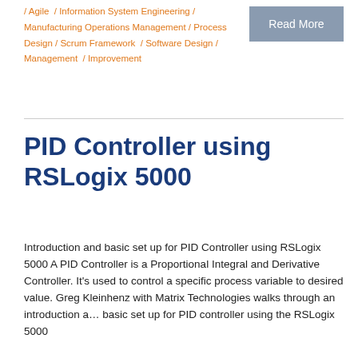/ Agile / Information System Engineering / Manufacturing Operations Management / Process Design / Scrum Framework / Software Design / Management / Improvement
Read More
PID Controller using RSLogix 5000
Introduction and basic set up for PID Controller using RSLogix 5000 A PID Controller is a Proportional Integral and Derivative Controller. It's used to control a specific process variable to desired value. Greg Kleinhenz with Matrix Technologies walks through an introduction and basic set up for PID controller using the RSLogix 5000